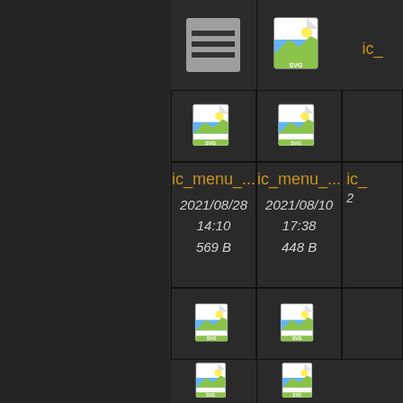[Figure (screenshot): File manager grid view on dark background showing SVG file icons with metadata. Row 1: menu icon (PNG, 64x64, 2018/06/06 15:20, 1.5 KB) and SVG landscape icon (2021/11/16 22:50, 299 B) labeled ic_menu_... Row 2: two SVG landscape icons labeled ic_menu_... (2021/08/28 14:10, 569 B) and (2021/08/10 17:38, 448 B). Row 3: two more SVG icons partially visible at bottom.]